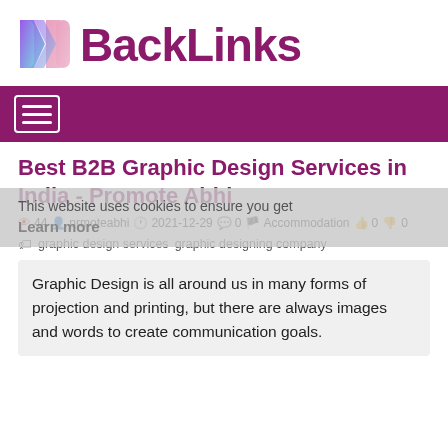[Figure (logo): MBackLinks logo with stylized M icon and purple BackLinks text]
Navigation bar with hamburger menu
Best B2B Graphic Design Services in India - Promote Abhi
44  prmoteabhi  2021-12-29  0  Accommodation  0  0
This website uses cookies to ensure you get
Learn more
graphic design services  graphic designing company
Graphic Design is all around us in many forms of projection and printing, but there are always images and words to create communication goals.